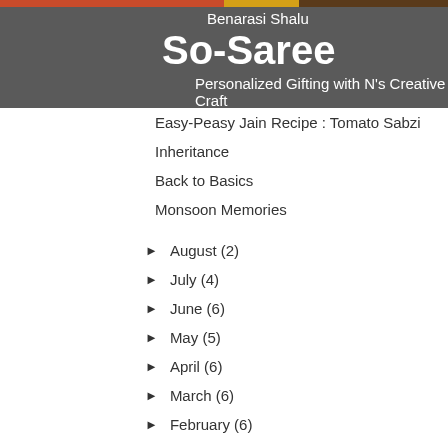Benarasi Shalu
So-Saree
Personalized Gifting with N's Creative Craft
Easy-Peasy Jain Recipe : Tomato Sabzi
Inheritance
Back to Basics
Monsoon Memories
► August (2)
► July (4)
► June (6)
► May (5)
► April (6)
► March (6)
► February (6)
► January (6)